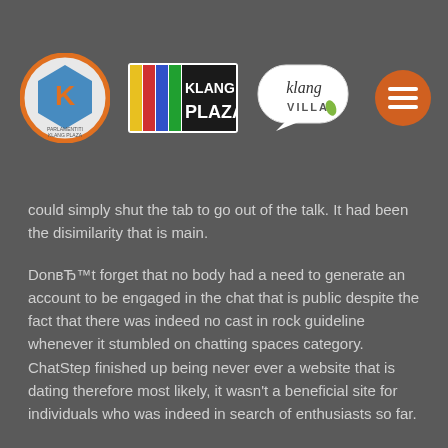[Figure (logo): Navigation header with three Klang Plaza logos (circular KP logo with text, KLANG PLAZA rectangular colorful logo, klang villa speech bubble logo) and an orange hamburger menu button on the right]
could simply shut the tab to go out of the talk. It had been the disimilarity that is main.
DonвЂ™t forget that no body had a need to generate an account to be engaged in the chat that is public despite the fact that there was indeed no cast in rock guideline whenever it stumbled on chatting spaces category. ChatStep finished up being never ever a website that is dating therefore most likely, it wasn't a beneficial site for individuals who was indeed in search of enthusiasts so far.
The satisfaction a feature associated with the chatr ms wound up being just exactly how simple they seemed. The communications was indeed all colored, and it made the l k of the discussion boards gorgeous. The ChatStep web page was in fact mobile-optimized, what this means is people